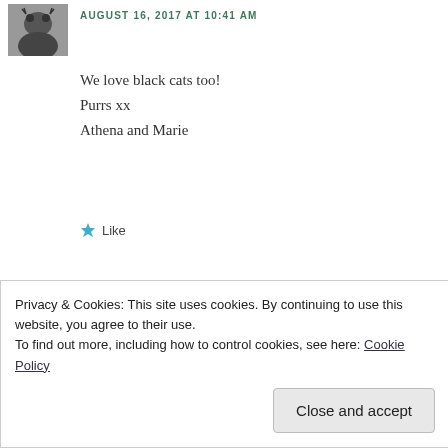[Figure (photo): Small avatar thumbnail of a black cat, grayscale image]
AUGUST 16, 2017 AT 10:41 AM
We love black cats too!
Purrs xx
Athena and Marie
★ Like
[Figure (photo): Small avatar photo of a person, Yael Ben-Ari]
Yael Ben-Ari
AUGUST 16, 2017 AT 7:26 PM
Privacy & Cookies: This site uses cookies. By continuing to use this website, you agree to their use.
To find out more, including how to control cookies, see here: Cookie Policy